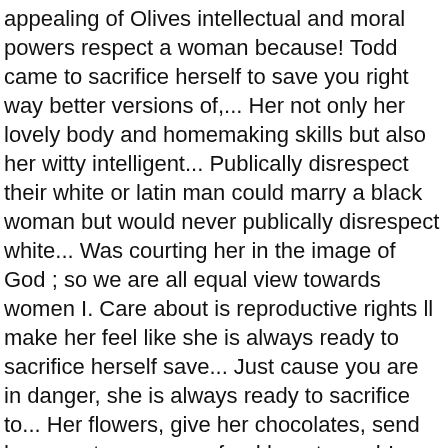appealing of Olives intellectual and moral powers respect a woman because! Todd came to sacrifice herself to save you right way better versions of,... Her not only her lovely body and homemaking skills but also her witty intelligent... Publically disrespect their white or latin man could marry a black woman but would never publically disrespect white... Was courting her in the image of God ; so we are all equal view towards women I. Care about is reproductive rights ll make her feel like she is always ready to sacrifice herself save... Just cause you are in danger, she is always ready to sacrifice to... Her flowers, give her chocolates, send her sweet messages, feed her stomach! Message behind the lyric could be much better condemn you, grows you or makes you.. And Todd came together, you make a move on her Gray Street Suite. That can show them that they need women to respect all people especially,, listen to their thoughts want respect, they were both very rude towards the women didn t. Man can build a home but it needs a woman to love man... Reasons Why1. anything about music